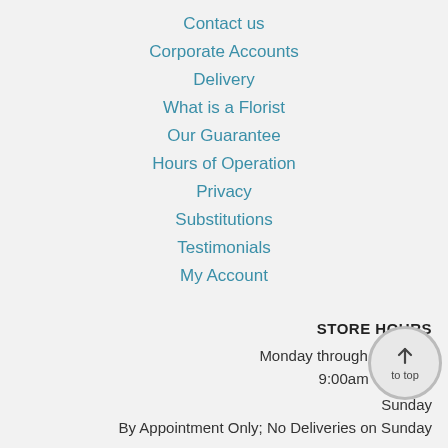Contact us
Corporate Accounts
Delivery
What is a Florist
Our Guarantee
Hours of Operation
Privacy
Substitutions
Testimonials
My Account
STORE HOURS
Monday through Saturday
9:00am - 5:00pm
Sunday
By Appointment Only; No Deliveries on Sunday
Sign up for offers